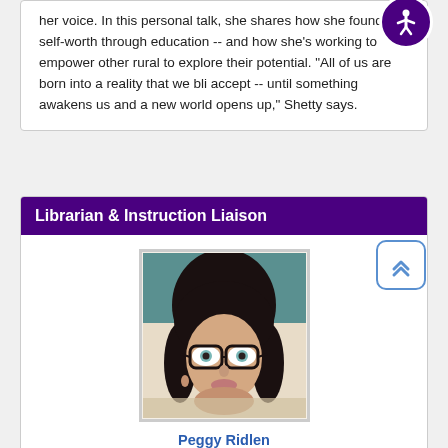her voice. In this personal talk, she shares how she found self-worth through education -- and how she's working to empower other rural to explore their potential. "All of us are born into a reality that we bli accept -- until something awakens us and a new world opens up," Shetty says.
Librarian & Instruction Liaison
[Figure (photo): Portrait photo of Peggy Ridlen, a woman with dark hair and glasses]
Peggy Ridlen
Email Me